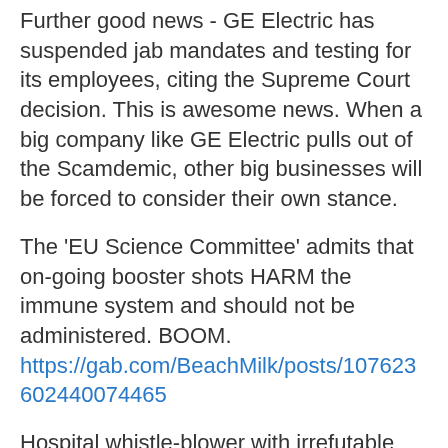Further good news - GE Electric has suspended jab mandates and testing for its employees, citing the Supreme Court decision. This is awesome news. When a big company like GE Electric pulls out of the Scamdemic, other big businesses will be forced to consider their own stance.
The 'EU Science Committee' admits that on-going booster shots HARM the immune system and should not be administered. BOOM. https://gab.com/BeachMilk/posts/107623602440074465
Hospital whistle-blower with irrefutable TRUTH about the jab. Short video, recommended, pass it on. https://gab.com/BeachMilk/posts/107623643196977644